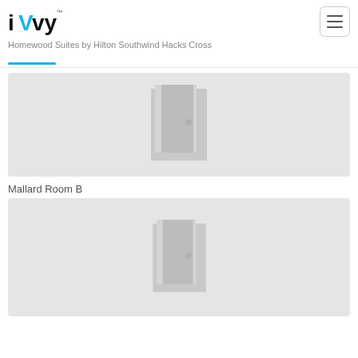[Figure (logo): iVvy logo with cyan V]
Homewood Suites by Hilton Southwind Hacks Cross
[Figure (photo): Placeholder room image with door icon on gray background]
Mallard Room B
[Figure (photo): Placeholder room image with door icon on gray background]